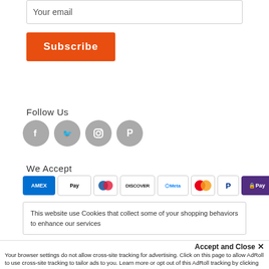Your email
Subscribe
Follow Us
[Figure (illustration): Four social media icons in gray circles: Facebook, Twitter, Instagram, Pinterest]
We Accept
[Figure (illustration): Payment icons: AMEX, Apple Pay, Diners Club, Discover, Meta, Mastercard, PayPal, OPay, Venmo]
This website use Cookies that collect some of your shopping behaviors to enhance our services
Accept and Close ×
Your browser settings do not allow cross-site tracking for advertising. Click on this page to allow AdRoll to use cross-site tracking to tailor ads to you. Learn more or opt out of this AdRoll tracking by clicking here. This message only appears once.